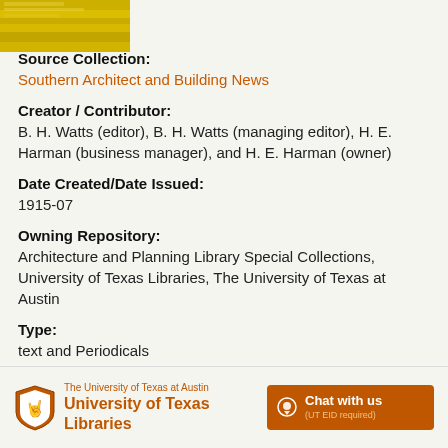[Figure (photo): Thumbnail image of a yellow/gold document cover]
Source Collection:
Southern Architect and Building News
Creator / Contributor:
B. H. Watts (editor), B. H. Watts (managing editor), H. E. Harman (business manager), and H. E. Harman (owner)
Date Created/Date Issued:
1915-07
Owning Repository:
Architecture and Planning Library Special Collections, University of Texas Libraries, The University of Texas at Austin
Type:
text and Periodicals
The University of Texas at Austin University of Texas Libraries  Chat with us (UT EID required)